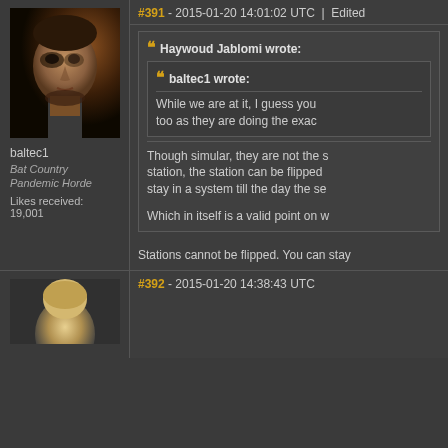#391 - 2015-01-20 14:01:02 UTC | Edited
Haywoud Jablomi wrote:
baltec1 wrote:
While we are at it, I guess you too as they are doing the exac
Though simular, they are not the station, the station can be flipped stay in a system till the day the se
Which in itself is a valid point on w
[Figure (photo): Forum user avatar showing a 3D rendered male character face in close-up, dark dramatic lighting]
baltec1
Bat Country
Pandemic Horde
Likes received: 19,001
Stations cannot be flipped. You can stay
#392 - 2015-01-20 14:38:43 UTC
[Figure (photo): Forum user avatar thumbnail, partially visible at bottom of page]